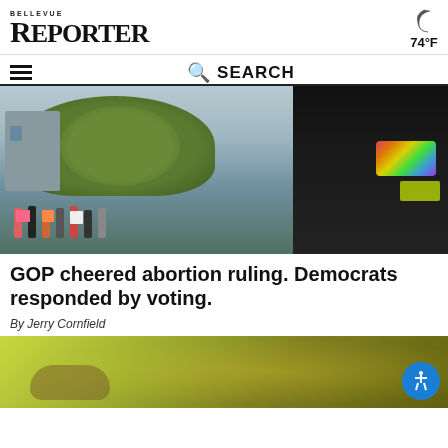BELLEVUE REPORTER
[Figure (screenshot): Navigation bar with hamburger menu and search bar]
[Figure (photo): Protesters holding signs on a street, with trees and buildings in background; foreground shows close-up of person in black jacket with rainbow reflective patch]
GOP cheered abortion ruling. Democrats responded by voting.
By Jerry Cornfield
[Figure (photo): Close-up photo of food item on yellow/green background with accessibility icon button overlay]